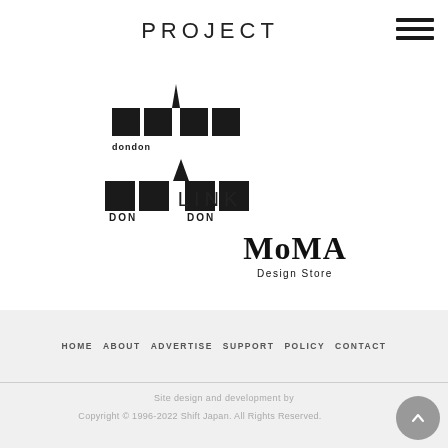PROJECT
[Figure (logo): DonDon stylized text logo in black]
LINK
[Figure (logo): MoMA Design Store logo]
HOME   ABOUT   ADVERTISE   SUPPORT   POLICY   CONTACT
Site design and development by
Copyright © 1996-2022 Shift Japan. All Rights Reserved.